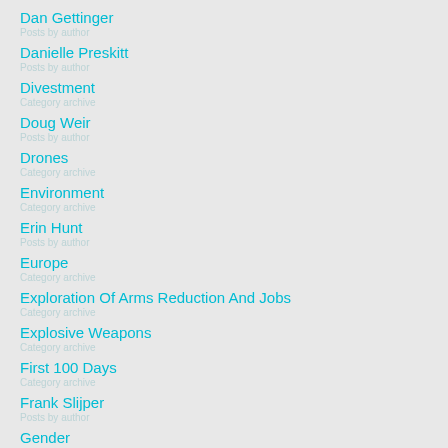Dan Gettinger
Danielle Preskitt
Divestment
Doug Weir
Drones
Environment
Erin Hunt
Europe
Exploration Of Arms Reduction And Jobs
Explosive Weapons
First 100 Days
Frank Slijper
Gender
Global Trade Trends
Harm To Civilians
Hector Guerra
High School Debate '19 20
High School Debate '19-20
Humanitarian Disarmament